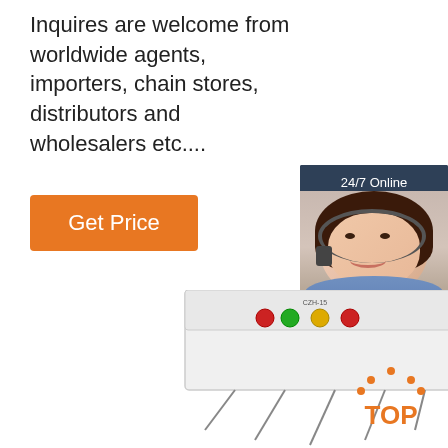Inquires are welcome from worldwide agents, importers, chain stores, distributors and wholesalers etc....
[Figure (other): Orange 'Get Price' button]
[Figure (other): Customer service representative with headset, dark blue panel with '24/7 Online' header and 'Click here for free chat!' text and orange 'QUOTATION' button]
[Figure (photo): Commercial spiral dough mixer machine with stainless steel bowl, white body, and colored control buttons]
[Figure (other): Orange 'TOP' logo with dot pattern above the text]